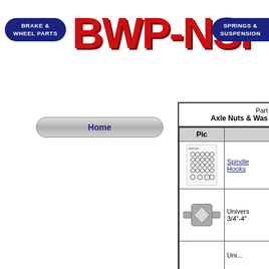[Figure (logo): BWP-NSI logo with red large text 'BWP-NSI', dark blue badge on left reading 'BRAKE & WHEEL PARTS', dark blue badge on right reading 'SPRINGS & SUSPENSION']
Home
| Pic |  |
| --- | --- |
| [spindle hooks image] | Spindle Hooks |
| [universal axle nut image] | Univers... 3/4"-4" |
|  | Uni... |